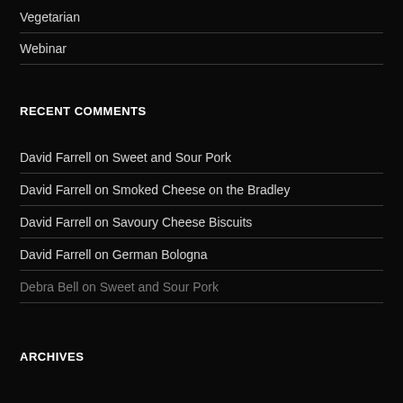Vegetarian
Webinar
RECENT COMMENTS
David Farrell on Sweet and Sour Pork
David Farrell on Smoked Cheese on the Bradley
David Farrell on Savoury Cheese Biscuits
David Farrell on German Bologna
Debra Bell on Sweet and Sour Pork
ARCHIVES